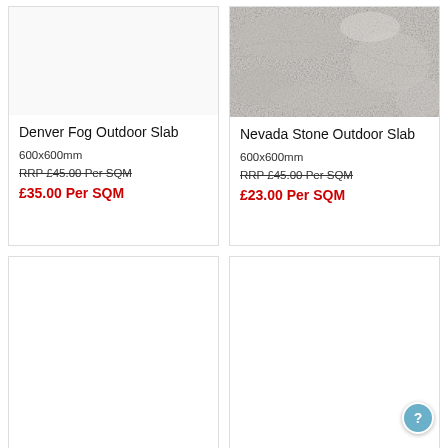Denver Fog Outdoor Slab
600x600mm
RRP £45.00 Per SQM
£35.00 Per SQM
[Figure (photo): Nevada Stone Outdoor Slab — light grey stone texture surface photo]
Nevada Stone Outdoor Slab
600x600mm
RRP £45.00 Per SQM
£23.00 Per SQM